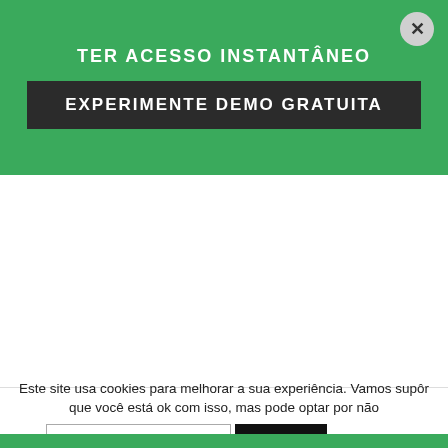TER ACESSO INSTANTÂNEO
EXPERIMENTE DEMO GRATUITA
Este site usa cookies para melhorar a sua experiência. Vamos supôr que você está ok com isso, mas pode optar por não
Select Language
ACEITAR
Saiba Mais